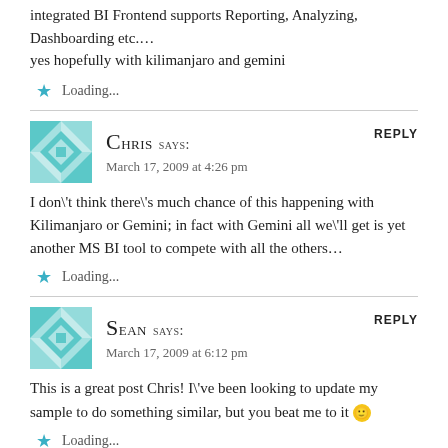integrated BI Frontend supports Reporting, Analyzing, Dashboarding etc.…
yes hopefully with kilimanjaro and gemini
★ Loading...
Chris says:
March 17, 2009 at 4:26 pm
REPLY
I don\'t think there\'s much chance of this happening with Kilimanjaro or Gemini; in fact with Gemini all we\'ll get is yet another MS BI tool to compete with all the others…
★ Loading...
Sean says:
March 17, 2009 at 6:12 pm
REPLY
This is a great post Chris! I\'ve been looking to update my sample to do something similar, but you beat me to it 🙂
★ Loading...